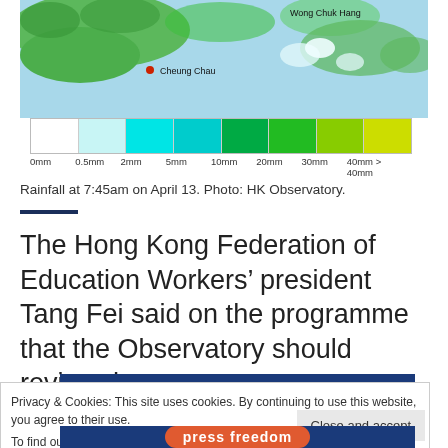[Figure (map): Rainfall map of Hong Kong area showing Cheung Chau and Wong Chuk Hang locations with green areas indicating rainfall. Color legend shows rainfall intensity from 0mm (white) to >40mm (yellow).]
Rainfall at 7:45am on April 13. Photo: HK Observatory.
The Hong Kong Federation of Education Workers’ president Tang Fei said on the programme that the Observatory should review the system.
Privacy & Cookies: This site uses cookies. By continuing to use this website, you agree to their use.
To find out more, including how to control cookies, see here: Cookie Policy
Close and accept
press freedom